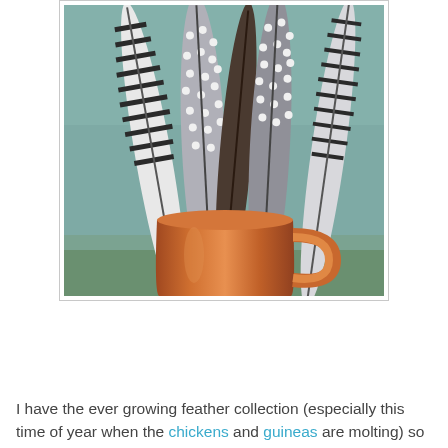[Figure (photo): A copper mug holding several black and white patterned feathers (guinea fowl and chicken feathers with spots and stripes), set against a teal/green blurred background]
I have the ever growing feather collection (especially this time of year when the chickens and guineas are molting) so